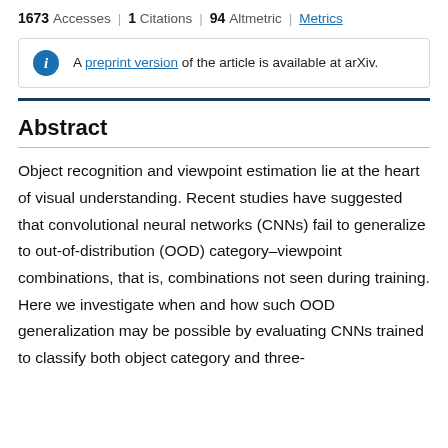1673 Accesses | 1 Citations | 94 Altmetric | Metrics
A preprint version of the article is available at arXiv.
Abstract
Object recognition and viewpoint estimation lie at the heart of visual understanding. Recent studies have suggested that convolutional neural networks (CNNs) fail to generalize to out-of-distribution (OOD) category–viewpoint combinations, that is, combinations not seen during training. Here we investigate when and how such OOD generalization may be possible by evaluating CNNs trained to classify both object category and three-